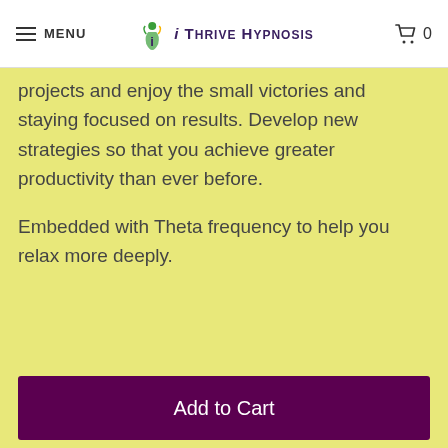MENU | iThrive Hypnosis | 0
projects and enjoy the small victories and staying focused on results. Develop new strategies so that you achieve greater productivity than ever before.

Embedded with Theta frequency to help you relax more deeply.
Add to Cart
Collections: END PROCRASTINATION
SHARE